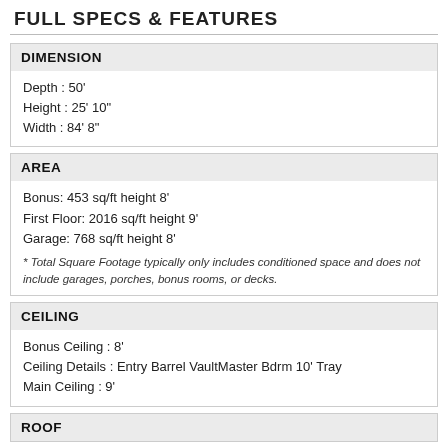FULL SPECS & FEATURES
DIMENSION
Depth : 50'
Height : 25' 10"
Width : 84' 8"
AREA
Bonus: 453 sq/ft height 8'
First Floor: 2016 sq/ft height 9'
Garage: 768 sq/ft height 8'
* Total Square Footage typically only includes conditioned space and does not include garages, porches, bonus rooms, or decks.
CEILING
Bonus Ceiling : 8'
Ceiling Details : Entry Barrel VaultMaster Bdrm 10' Tray
Main Ceiling : 9'
ROOF